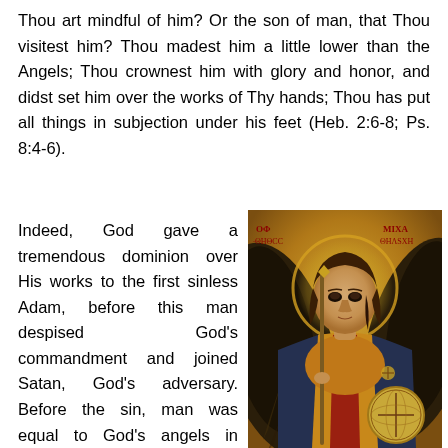Thou art mindful of him? Or the son of man, that Thou visitest him? Thou madest him a little lower than the Angels; Thou crownest him with glory and honor, and didst set him over the works of Thy hands; Thou has put all things in subjection under his feet (Heb. 2:6-8; Ps. 8:4-6).
Indeed, God gave a tremendous dominion over His works to the first sinless Adam, before this man despised God's commandment and joined Satan, God's adversary. Before the sin, man was equal to God's angels in power,
[Figure (illustration): Byzantine icon depicting Archangel Michael holding a staff and orb, with dark wings, wearing golden and red robes, with Greek text inscriptions in red in the upper corners.]